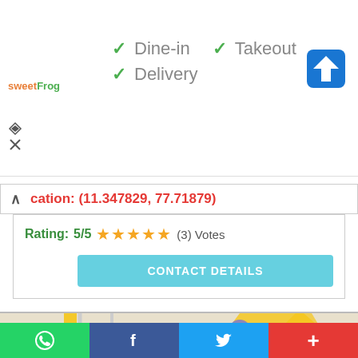✓ Dine-in  ✓ Takeout  ✓ Delivery
[Figure (logo): sweetFrog logo in orange and green text]
Location: (11.347829, 77.71879)
Rating: 5/5 ★★★★★ (3) Votes
CONTACT DETAILS
[Figure (map): Google Map showing Erode area with streets, Panner Selvam PS Park, Kaikolar Thottam, hotel markers, and Tamil text labels]
WhatsApp | Facebook | Twitter | +